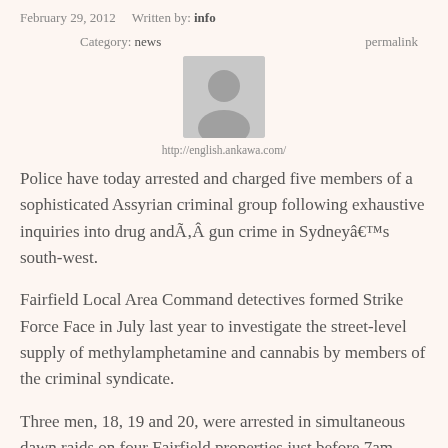February 29, 2012    Written by: info
Category: news    permalink
[Figure (illustration): Grey avatar/profile placeholder image]
http://english.ankawa.com/
Police have today arrested and charged five members of a sophisticated Assyrian criminal group following exhaustive inquiries into drug andÂ gun crime in Sydneyâ€™s south-west.
Fairfield Local Area Command detectives formed Strike Force Face in July last year to investigate the street-level supply of methylamphetamine and cannabis by members of the criminal syndicate.
Three men, 18, 19 and 20, were arrested in simultaneous dawn raids on four Fairfield properties just before 7am today